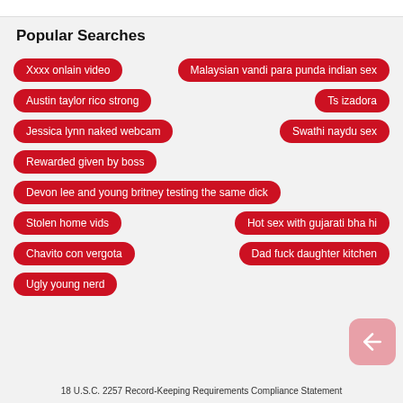Popular Searches
Xxxx onlain video
Malaysian vandi para punda indian sex
Austin taylor rico strong
Ts izadora
Jessica lynn naked webcam
Swathi naydu sex
Rewarded given by boss
Devon lee and young britney testing the same dick
Stolen home vids
Hot sex with gujarati bha hi
Chavito con vergota
Dad fuck daughter kitchen
Ugly young nerd
18 U.S.C. 2257 Record-Keeping Requirements Compliance Statement